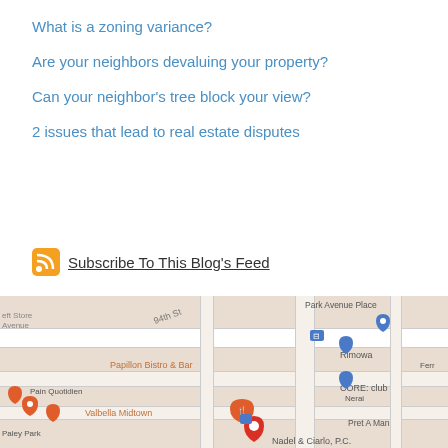What is a zoning variance?
Are your neighbors devaluing your property?
Can your neighbor's tree block your view?
2 issues that lead to real estate disputes
Subscribe To This Blog's Feed
Email Us For A Response
[Figure (map): Google Maps screenshot showing Midtown Manhattan area with Nadel & Ciarlo, P.C. location pin, showing nearby landmarks: Papillon Bistro & Bar, Rimowa, CORE: club, Valbella Midtown, Pret A Manger, Nerai, Park Avenue Place]